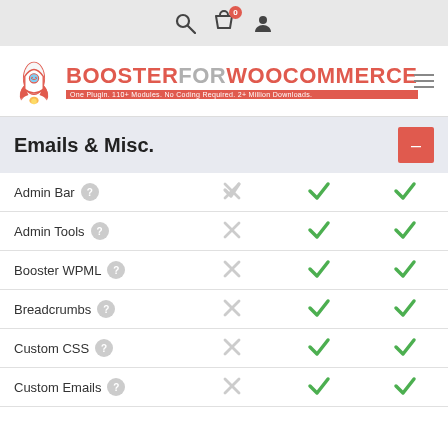Booster for WooCommerce — One Plugin. 110+ Modules. No Coding Required. 2+ Million Downloads.
Emails & Misc.
| Feature | Free | Plus | Premium |
| --- | --- | --- | --- |
| Admin Bar | ✗ | ✓ | ✓ |
| Admin Tools | ✗ | ✓ | ✓ |
| Booster WPML | ✗ | ✓ | ✓ |
| Breadcrumbs | ✗ | ✓ | ✓ |
| Custom CSS | ✗ | ✓ | ✓ |
| Custom Emails | ✗ | ✓ | ✓ |